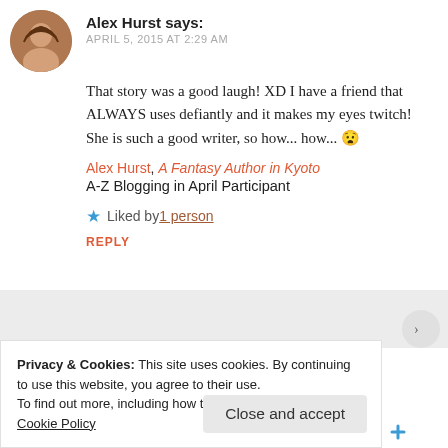Alex Hurst says: APRIL 5, 2015 AT 2:29 AM
That story was a good laugh! XD I have a friend that ALWAYS uses defiantly and it makes my eyes twitch! She is such a good writer, so how... how... 😧
Alex Hurst, A Fantasy Author in Kyoto
A-Z Blogging in April Participant
★ Liked by 1 person
REPLY
Privacy & Cookies: This site uses cookies. By continuing to use this website, you agree to their use.
To find out more, including how to control cookies, see here: Cookie Policy
Close and accept